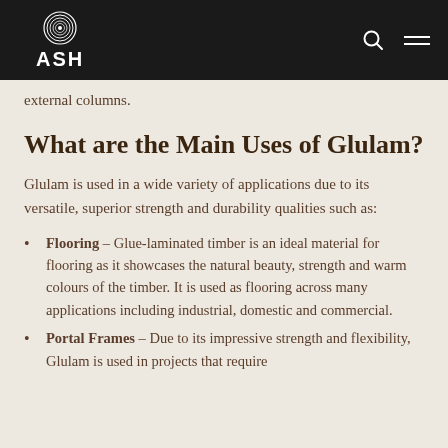ASH
external columns.
What are the Main Uses of Glulam?
Glulam is used in a wide variety of applications due to its versatile, superior strength and durability qualities such as:
Flooring – Glue-laminated timber is an ideal material for flooring as it showcases the natural beauty, strength and warm colours of the timber. It is used as flooring across many applications including industrial, domestic and commercial.
Portal Frames – Due to its impressive strength and flexibility, Glulam is used in projects that require